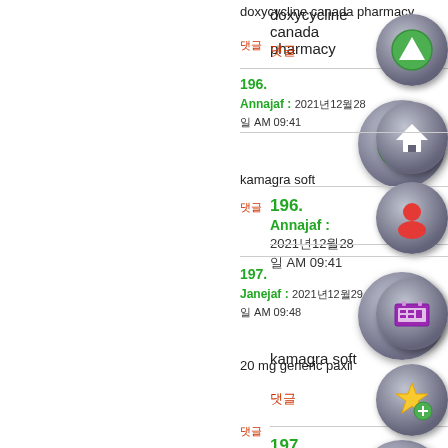doxycycline canada pharmacy
댓글
196.
Annajaf : 2021년12월28일 AM 09:41
kamagra soft
댓글
197.
Janejaf : 2021년12월29일 AM 09:48
20 mg generic paxil
댓글